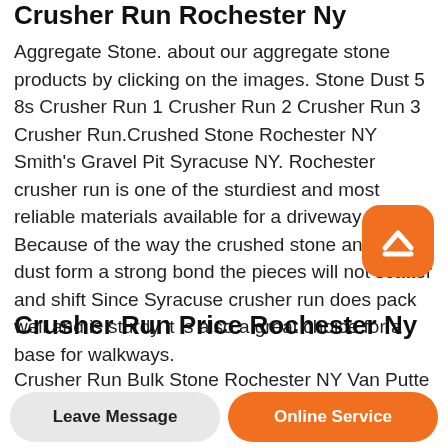Crusher Run Rochester Ny
Aggregate Stone. about our aggregate stone products by clicking on the images. Stone Dust 5 8s Crusher Run 1 Crusher Run 2 Crusher Run 3 Crusher Run.Crushed Stone Rochester NY Smith's Gravel Pit Syracuse NY. Rochester crusher run is one of the sturdiest and most reliable materials available for a driveway Because of the way the crushed stone and the dust form a strong bond the pieces will not scatter and shift Since Syracuse crusher run does pack well and is sturdy it is also a great choice for a base for walkways.
[Figure (other): Orange scroll-to-top button with upward chevron arrow icon]
Crusher Run Price Rochester Ny
Crusher Run Bulk Stone Rochester NY Van Putte
Leave Message | Online Service